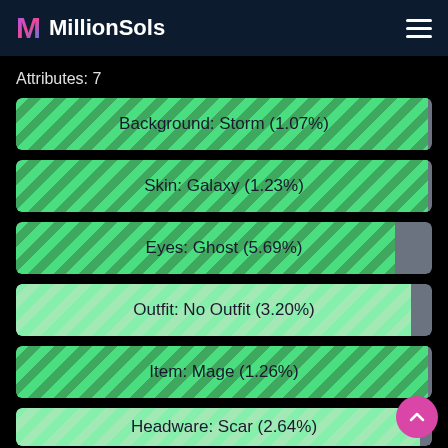MillionSols
Attributes: 7
Background: Storm (1.07%)
Skin: Galaxy (1.23%)
Eyes: Ghost (5.69%)
Outfit: No Outfit (3.20%)
Item: Mage (1.26%)
Headware: Scar (2.64%)